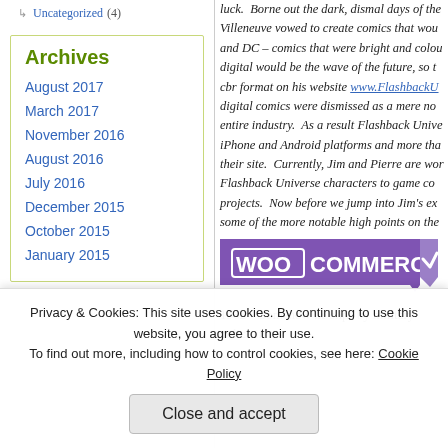Uncategorized (4)
Archives
August 2017
March 2017
November 2016
August 2016
July 2016
December 2015
October 2015
January 2015
luck. Borne out the dark, dismal days of the Villeneuve vowed to create comics that wou and DC – comics that were bright and colou digital would be the wave of the future, so t cbr format on his website www.FlashbackU digital comics were dismissed as a mere no entire industry. As a result Flashback Unive iPhone and Android platforms and more tha their site. Currently, Jim and Pierre are wor Flashback Universe characters to game co projects. Now before we jump into Jim's ex some of the more notable high points on the
[Figure (logo): WooCommerce purple logo banner]
1962 – Somehow he slips by military police in
Privacy & Cookies: This site uses cookies. By continuing to use this website, you agree to their use. To find out more, including how to control cookies, see here: Cookie Policy
Close and accept